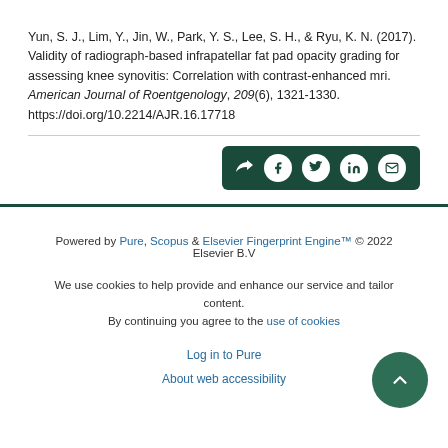Yun, S. J., Lim, Y., Jin, W., Park, Y. S., Lee, S. H., & Ryu, K. N. (2017). Validity of radiograph-based infrapatellar fat pad opacity grading for assessing knee synovitis: Correlation with contrast-enhanced mri. American Journal of Roentgenology, 209(6), 1321-1330. https://doi.org/10.2214/AJR.16.17718
[Figure (other): Dark green share bar with share icon and social media icons: Facebook, Twitter, LinkedIn, Email]
Powered by Pure, Scopus & Elsevier Fingerprint Engine™ © 2022 Elsevier B.V

We use cookies to help provide and enhance our service and tailor content. By continuing you agree to the use of cookies

Log in to Pure

About web accessibility